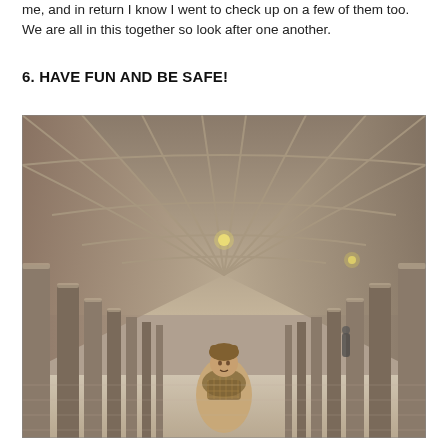me, and in return I know I went to check up on a few of them too. We are all in this together so look after one another.
6. HAVE FUN AND BE SAFE!
[Figure (photo): A person standing in the cloisters of a gothic stone building with tall arched vaulted ceilings and rows of stone columns stretching into the distance. The person is wearing a beige coat and a patterned scarf and a hat.]